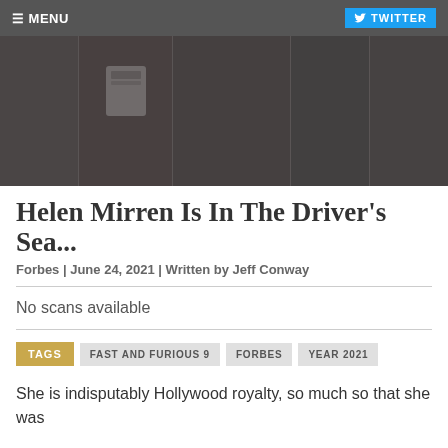≡ MENU | TWITTER
[Figure (photo): Hero strip of multiple dark-tinted celebrity photos of Helen Mirren]
Helen Mirren Is In The Driver's Sea...
Forbes | June 24, 2021 | Written by Jeff Conway
No scans available
TAGS  FAST AND FURIOUS 9  FORBES  YEAR 2021
She is indisputably Hollywood royalty, so much so that she was